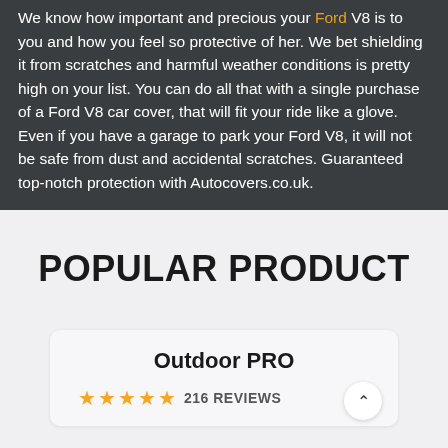We know how important and precious your Ford V8 is to you and how you feel so protective of her. We bet shielding it from scratches and harmful weather conditions is pretty high on your list. You can do all that with a single purchase of a Ford V8 car cover, that will fit your ride like a glove. Even if you have a garage to park your Ford V8, it will not be safe from dust and accidental scratches. Guaranteed top-notch protection with Autocovers.co.uk.
POPULAR PRODUCT
Outdoor PRO
★★★★★ 216 REVIEWS